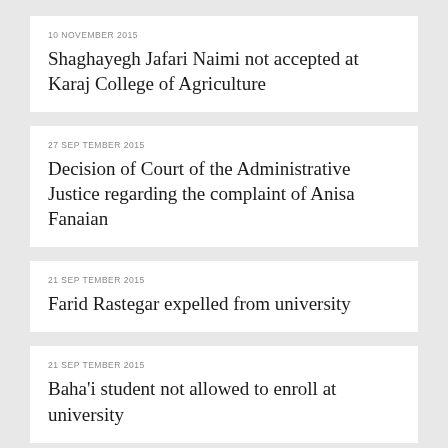10 NOVEMBER 2015
Shaghayegh Jafari Naimi not accepted at Karaj College of Agriculture
27 SEPTEMBER 2015
Decision of Court of the Administrative Justice regarding the complaint of Anisa Fanaian
21 SEPTEMBER 2015
Farid Rastegar expelled from university
21 SEPTEMBER 2015
Baha'i student not allowed to enroll at university